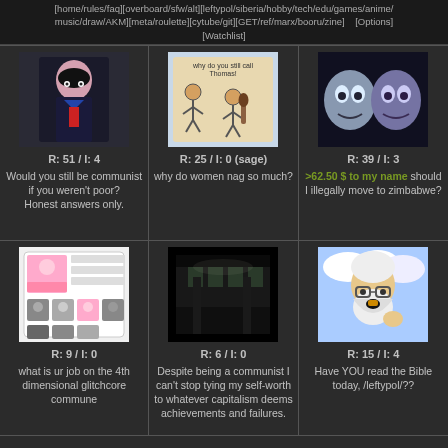[home/rules/faq][overboard/sfw/alt][leftypol/siberia/hobby/tech/edu/games/anime/music/draw/AKM][meta/roulette][cytube/git][GET/ref/marx/booru/zine]    [Options] [Watchlist]
[Figure (illustration): Anime girl in school uniform thumbnail]
R: 51 / I: 4
Would you still be communist if you weren't poor?
Honest answers only.
[Figure (illustration): Cartoon cavemen comic strip thumbnail]
R: 25 / I: 0 (sage)
why do women nag so much?
[Figure (photo): Two ghostly/creepy faces photo thumbnail]
R: 39 / I: 3
>62.50 $ to my name should I illegally move to zimbabwe?
[Figure (illustration): ID card or profile chart illustration thumbnail]
R: 9 / I: 0
what is ur job on the 4th dimensional glitchcore commune
[Figure (screenshot): Dark screenshot of building interior]
R: 6 / I: 0
Despite being a communist I can't stop tying my self-worth to whatever capitalism deems achievements and failures.
[Figure (illustration): Cartoon old bearded man with halo (soyjak-style)]
R: 15 / I: 4
Have YOU read the Bible today, /leftypol/??